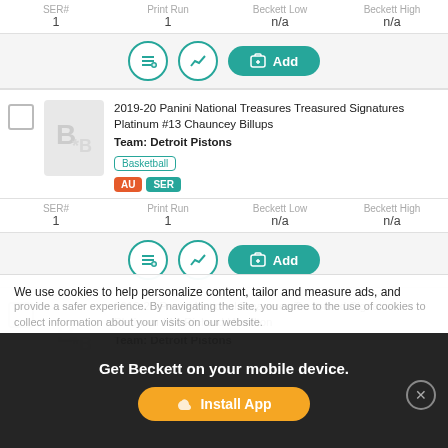SER# 1  |  Print Run 1  |  Beckett Low n/a  |  Beckett High n/a
[Figure (screenshot): Action row with list icon, chart icon, and Add button (teal)]
2019-20 Panini National Treasures Treasured Signatures Platinum #13 Chauncey Billups
Team: Detroit Pistons
Basketball
AU | SER
SER# 1  |  Print Run 1  |  Beckett Low n/a  |  Beckett High n/a
[Figure (screenshot): Action row with list icon, chart icon, and Add button (teal)]
2019-20 Panini National Treasures Treasured Signatures Platinum #14 Richard Hamilton
Team: Detroit Pistons
We use cookies to help personalize content, tailor and measure ads, and provide a safer experience. By navigating the site, you agree to the use of cookies to collect information about your visits on our website.
Get Beckett on your mobile device.
Install App